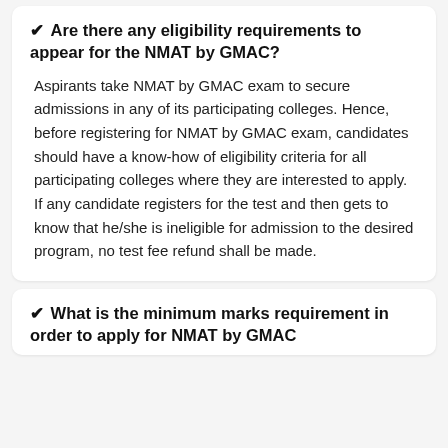✔ Are there any eligibility requirements to appear for the NMAT by GMAC?
Aspirants take NMAT by GMAC exam to secure admissions in any of its participating colleges. Hence, before registering for NMAT by GMAC exam, candidates should have a know-how of eligibility criteria for all participating colleges where they are interested to apply. If any candidate registers for the test and then gets to know that he/she is ineligible for admission to the desired program, no test fee refund shall be made.
✔ What is the minimum marks requirement in order to apply for NMAT by GMAC?